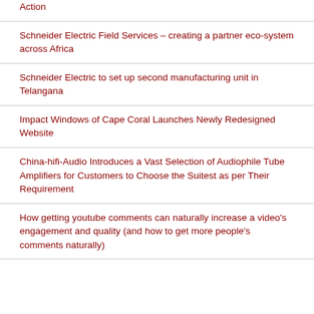Action
Schneider Electric Field Services – creating a partner eco-system across Africa
Schneider Electric to set up second manufacturing unit in Telangana
Impact Windows of Cape Coral Launches Newly Redesigned Website
China-hifi-Audio Introduces a Vast Selection of Audiophile Tube Amplifiers for Customers to Choose the Suitest as per Their Requirement
How getting youtube comments can naturally increase a video's engagement and quality (and how to get more people's comments naturally)